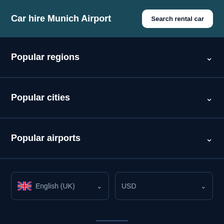Car hire Munich Airport
Popular regions
Popular cities
Popular airports
English (UK)
USD